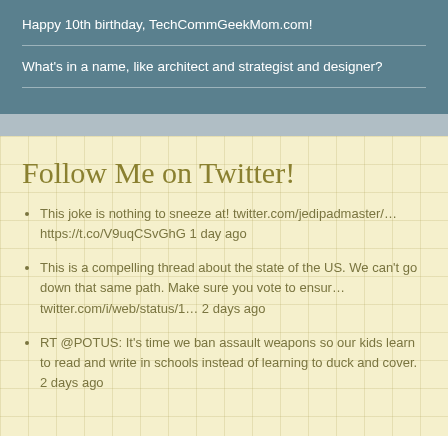Happy 10th birthday, TechCommGeekMom.com!
What's in a name, like architect and strategist and designer?
Follow Me on Twitter!
This joke is nothing to sneeze at! twitter.com/jedipadmaster/… https://t.co/V9uqCSvGhG 1 day ago
This is a compelling thread about the state of the US. We can't go down that same path. Make sure you vote to ensur… twitter.com/i/web/status/1… 2 days ago
RT @POTUS: It's time we ban assault weapons so our kids learn to read and write in schools instead of learning to duck and cover. 2 days ago